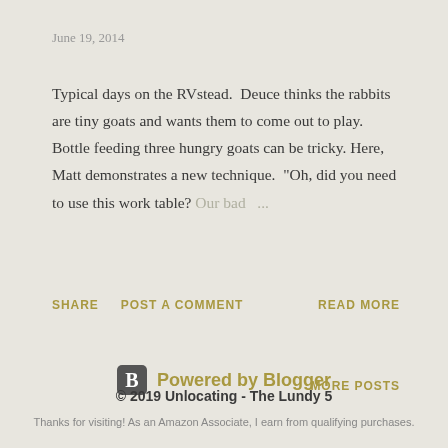June 19, 2014
Typical days on the RVstead.  Deuce thinks the rabbits are tiny goats and wants them to come out to play. Bottle feeding three hungry goats can be tricky. Here, Matt demonstrates a new technique.  "Oh, did you need to use this work table? Our bad ...
SHARE   POST A COMMENT   READ MORE
MORE POSTS
[Figure (logo): Blogger B logo icon in a rounded square]
Powered by Blogger
© 2019 Unlocating - The Lundy 5
Thanks for visiting! As an Amazon Associate, I earn from qualifying purchases.